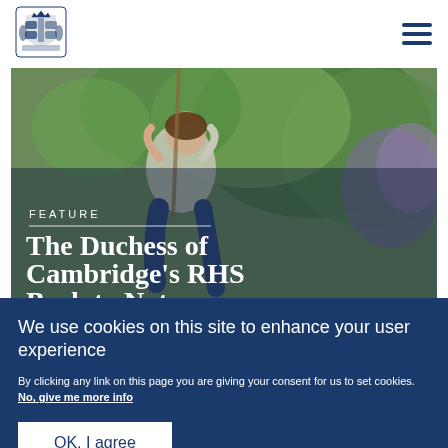[Figure (logo): RHS Royal Horticultural Society coat of arms logo in blue]
[Figure (photo): Person on a rope swing in a lush green garden with purple flowers in the background, with overlay text FEATURE and The Duchess of Cambridge's RHS Back to Nature]
The Duchess of Cambridge's RHS Back to Nature
We use cookies on this site to enhance your user experience
By clicking any link on this page you are giving your consent for us to set cookies. No, give me more info
OK, I agree